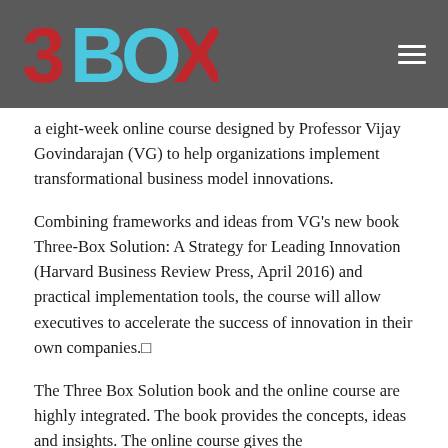[Figure (logo): Three-Box Solution logo with stylized BOX text in red and cyan on dark grey header bar]
a eight-week online course designed by Professor Vijay Govindarajan (VG) to help organizations implement transformational business model innovations.
Combining frameworks and ideas from VG’s new book Three-Box Solution: A Strategy for Leading Innovation (Harvard Business Review Press, April 2016) and practical implementation tools, the course will allow executives to accelerate the success of innovation in their own companies.
The Three Box Solution book and the online course are highly integrated. The book provides the concepts, ideas and insights. The online course gives the